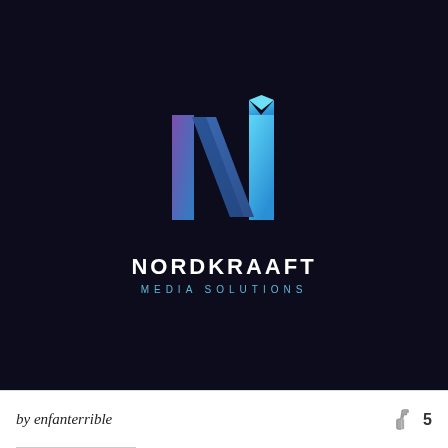[Figure (logo): Nordkraaft Media Solutions logo on dark navy background. The logo features a stylized letter N with gradient colors (purple to teal/blue), with the text NORDKRAAFT in bold white uppercase and MEDIA SOLUTIONS in spaced light blue uppercase below.]
by enfanterrible
5